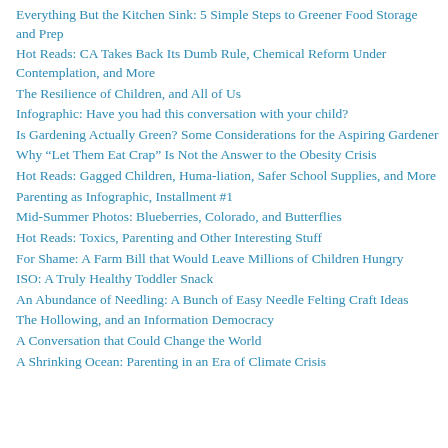Everything But the Kitchen Sink: 5 Simple Steps to Greener Food Storage and Prep
Hot Reads: CA Takes Back Its Dumb Rule, Chemical Reform Under Contemplation, and More
The Resilience of Children, and All of Us
Infographic: Have you had this conversation with your child?
Is Gardening Actually Green? Some Considerations for the Aspiring Gardener
Why “Let Them Eat Crap” Is Not the Answer to the Obesity Crisis
Hot Reads: Gagged Children, Huma-liation, Safer School Supplies, and More
Parenting as Infographic, Installment #1
Mid-Summer Photos: Blueberries, Colorado, and Butterflies
Hot Reads: Toxics, Parenting and Other Interesting Stuff
For Shame: A Farm Bill that Would Leave Millions of Children Hungry
ISO: A Truly Healthy Toddler Snack
An Abundance of Needling: A Bunch of Easy Needle Felting Craft Ideas
The Hollowing, and an Information Democracy
A Conversation that Could Change the World
A Shrinking Ocean: Parenting in an Era of Climate Crisis